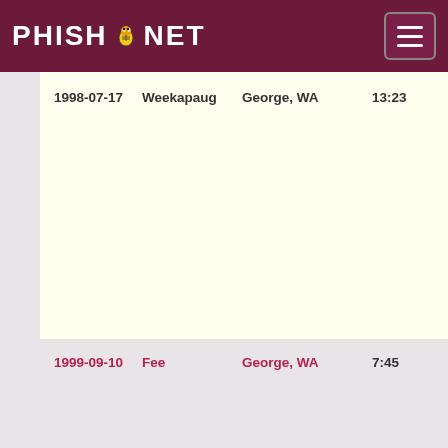PHISH.NET
| Date | Song | Venue | Duration |
| --- | --- | --- | --- |
| 1998-07-17 | Weekapaug | George, WA | 13:23 |
| 1999-09-10 | Fee | George, WA | 7:45 |